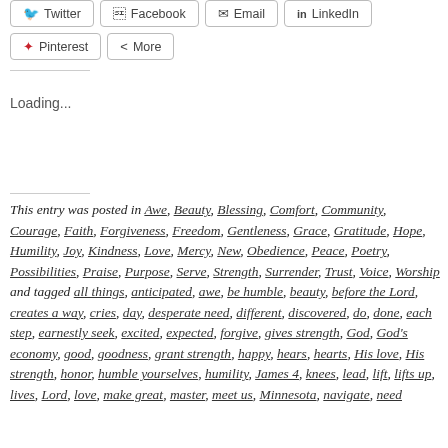[Figure (other): Social share buttons row 1: Twitter, Facebook, Email, LinkedIn]
[Figure (other): Social share buttons row 2: Pinterest, More]
Loading...
This entry was posted in Awe, Beauty, Blessing, Comfort, Community, Courage, Faith, Forgiveness, Freedom, Gentleness, Grace, Gratitude, Hope, Humility, Joy, Kindness, Love, Mercy, New, Obedience, Peace, Poetry, Possibilities, Praise, Purpose, Serve, Strength, Surrender, Trust, Voice, Worship and tagged all things, anticipated, awe, be humble, beauty, before the Lord, creates a way, cries, day, desperate need, different, discovered, do, done, each step, earnestly seek, excited, expected, forgive, gives strength, God, God's economy, good, goodness, grant strength, happy, hears, hearts, His love, His strength, honor, humble yourselves, humility, James 4, knees, lead, lift, lifts up, lives, Lord, love, make great, master, meet us, Minnesota, navigate, need